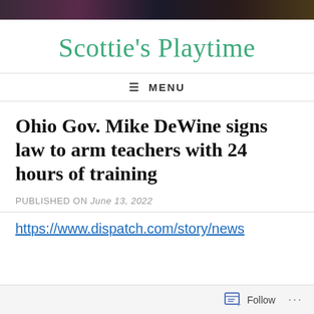[Figure (photo): Dark banner image at top of page]
Scottie's Playtime
☰ MENU
Ohio Gov. Mike DeWine signs law to arm teachers with 24 hours of training
PUBLISHED ON June 13, 2022
https://www.dispatch.com/story/news